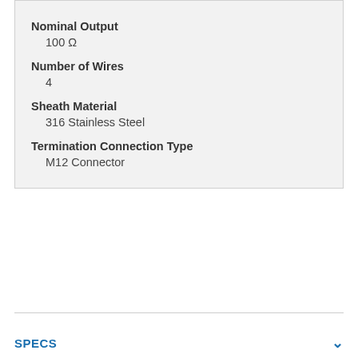Nominal Output
100 Ω
Number of Wires
4
Sheath Material
316 Stainless Steel
Termination Connection Type
M12 Connector
SPECS